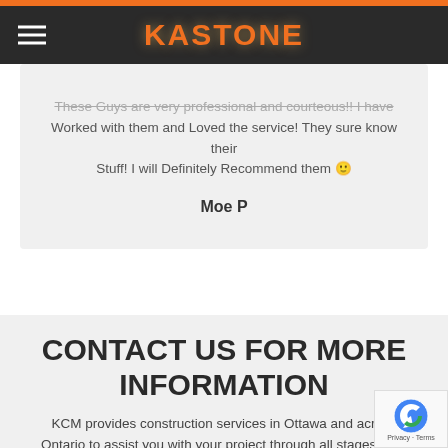[Figure (logo): Kastone logo with orange text on dark background header with hamburger menu icon]
These Guys are very professional and courteous!! I have Worked with them and Loved the service! They sure know their Stuff! I will Definitely Recommend them 🙂
Moe P
CONTACT US FOR MORE INFORMATION
KCM provides construction services in Ottawa and across Ontario to assist you with your project through all stages from construction to design and on-site and to completion.